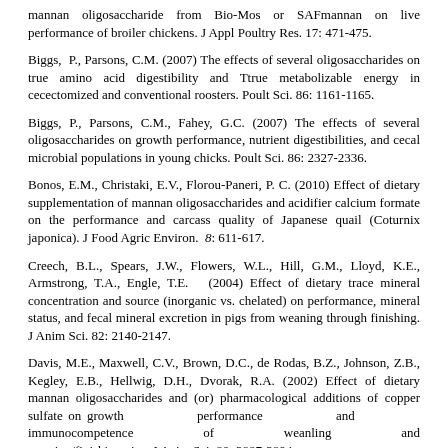mannan oligosaccharide from Bio-Mos or SAFmannan on live performance of broiler chickens. J Appl Poultry Res. 17: 471-475.
Biggs, P., Parsons, C.M. (2007) The effects of several oligosaccharides on true amino acid digestibility and Ttrue metabolizable energy in cecectomized and conventional roosters. Poult Sci. 86: 1161-1165.
Biggs, P., Parsons, C.M., Fahey, G.C. (2007) The effects of several oligosaccharides on growth performance, nutrient digestibilities, and cecal microbial populations in young chicks. Poult Sci. 86: 2327-2336.
Bonos, E.M., Christaki, E.V., Florou-Paneri, P. C. (2010) Effect of dietary supplementation of mannan oligosaccharides and acidifier calcium formate on the performance and carcass quality of Japanese quail (Coturnix japonica). J Food Agric Environ. 8: 611-617.
Creech, B.L., Spears, J.W., Flowers, W.L., Hill, G.M., Lloyd, K.E., Armstrong, T.A., Engle, T.E. (2004) Effect of dietary trace mineral concentration and source (inorganic vs. chelated) on performance, mineral status, and fecal mineral excretion in pigs from weaning through finishing. J Anim Sci. 82: 2140-2147.
Davis, M.E., Maxwell, C.V., Brown, D.C., de Rodas, B.Z., Johnson, Z.B., Kegley, E.B., Hellwig, D.H., Dvorak, R.A. (2002) Effect of dietary mannan oligosaccharides and (or) pharmacological additions of copper sulfate on growth performance and immunocompetence of weanling and growing/finishing pigs. J Anim Sci. 80: 2887-2894.